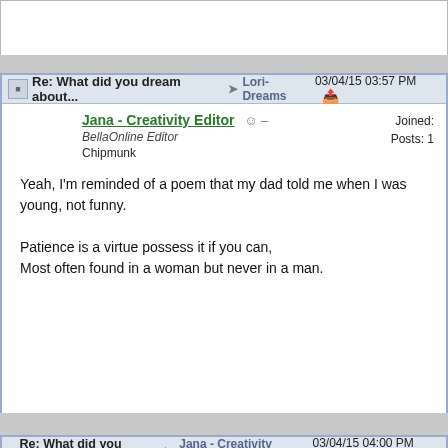Re: What did you dream about... → Lori-Dreams 03/04/15 03:57 PM
Jana - Creativity Editor
BellaOnline Editor
Chipmunk
Joined:
Posts:
Yeah, I'm reminded of a poem that my dad told me when I was young, not funny.

Patience is a virtue possess it if you can,
Most often found in a woman but never in a man.
Re: What did you drea... → Jana - Creativity Editor 03/04/15 04:00 PM
Angie
Tiger
Joined:
Posts: 6
Likes: 3
Central
Originally Posted By: Jana - Creativity Editor
Patience is a virtue possess it if you can, Most often found in a woma... but never in a man.